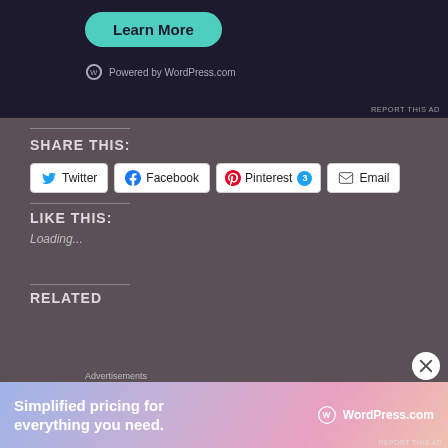[Figure (screenshot): WordPress.com advertisement with dark background, teal 'Learn More' button, and 'Powered by WordPress.com' text]
REPORT THIS AD
SHARE THIS:
Twitter | Facebook | Pinterest 3 | Email (share buttons)
LIKE THIS:
Loading...
RELATED
Advertisements
[Figure (screenshot): WordPress.com advertisement banner with gradient background (blue to pink), 'Simplified pricing for everything you need.' text and WordPress.com logo]
REPORT THIS AD